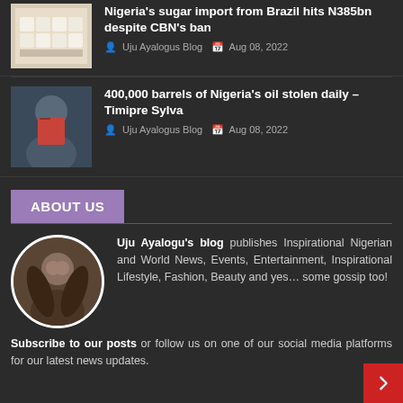[Figure (photo): Sugar cubes/sugar pile thumbnail image]
Nigeria's sugar import from Brazil hits N385bn despite CBN's ban
Uju Ayalogus Blog  Aug 08, 2022
[Figure (photo): Man in suit, Timipre Sylva, thumbnail image]
400,000 barrels of Nigeria's oil stolen daily – Timipre Sylva
Uju Ayalogus Blog  Aug 08, 2022
ABOUT US
[Figure (photo): Circular portrait of a woman, blog author avatar]
Uju Ayalogu's blog publishes Inspirational Nigerian and World News, Events, Entertainment, Inspirational Lifestyle, Fashion, Beauty and yes… some gossip too!
Subscribe to our posts or follow us on one of our social media platforms for our latest news updates.